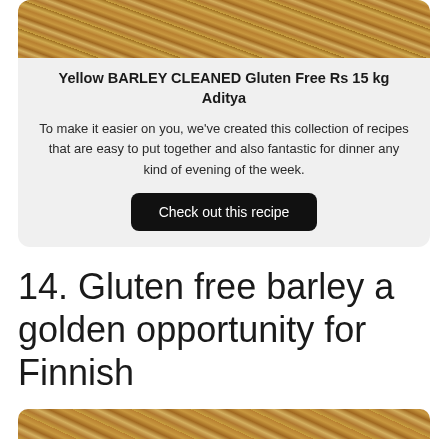[Figure (photo): Close-up photograph of yellow barley grains at the top of a card]
Yellow BARLEY CLEANED Gluten Free Rs 15 kg Aditya
To make it easier on you, we've created this collection of recipes that are easy to put together and also fantastic for dinner any kind of evening of the week.
Check out this recipe
14. Gluten free barley a golden opportunity for Finnish
[Figure (photo): Partial view of barley grains at the bottom of the page]